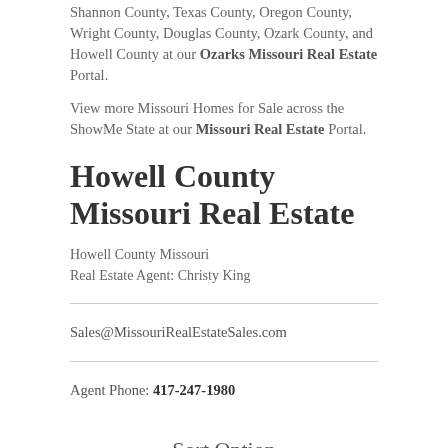Shannon County, Texas County, Oregon County, Wright County, Douglas County, Ozark County, and Howell County at our Ozarks Missouri Real Estate Portal.
View more Missouri Homes for Sale across the ShowMe State at our Missouri Real Estate Portal.
Howell County Missouri Real Estate
Howell County Missouri
Real Estate Agent: Christy King
Sales@MissouriRealEstateSales.com
Agent Phone: 417-247-1980
Sort Option